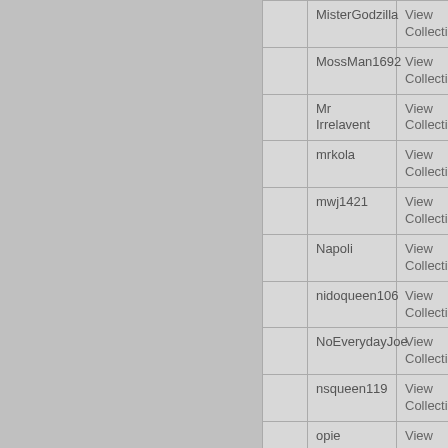|  | Username | Action |  |
| --- | --- | --- | --- |
|  | MisterGodzilla | View Collection |  |
|  | MossMan1692 | View Collection |  |
|  | Mr Irrelavent | View Collection |  |
|  | mrkola | View Collection |  |
|  | mwj1421 | View Collection |  |
|  | Napoli | View Collection |  |
|  | nidoqueen106 | View Collection |  |
|  | NoEverydayJoe | View Collection |  |
|  | nsqueen119 | View Collection |  |
|  | opie | View Collection |  |
|  | Parasekt | View Collection |  |
|  | Peanut | View Collection |  |
|  | Pran | View Collection |  |
|  |  |  |  |